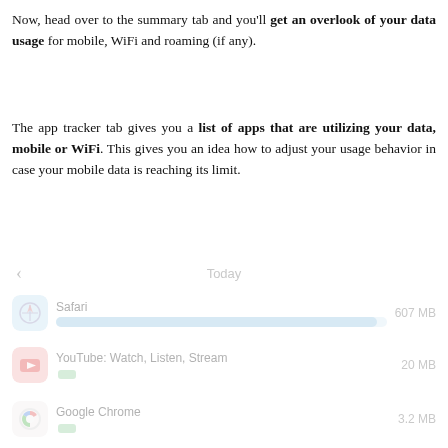Now, head over to the summary tab and you'll get an overlook of your data usage for mobile, WiFi and roaming (if any).
The app tracker tab gives you a list of apps that are utilizing your data, mobile or WiFi. This gives you an idea how to adjust your usage behavior in case your mobile data is reaching its limit.
[Figure (screenshot): App data usage tracker screenshot showing Safari (607 MB), YouTube: Watch, Listen, Stream (20 MB), and Google Chrome (3.2 MB) with usage bars]